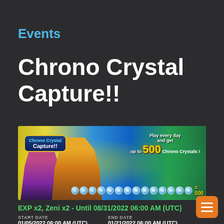Events
Chrono Crystal Capture!!
[Figure (illustration): Chrono Crystal Capture!! game event banner showing anime characters and text 'Play every day and get up to 500 Chrono Crystals!']
EXP x2, Zeni x2 - Until 08/31/2022 06:00 AM (UTC)
| START DATE | END DATE |
| --- | --- |
| 01/05/2022 06:00 AM (UTC) | 01/21/2022 06:00 AM (UTC) |